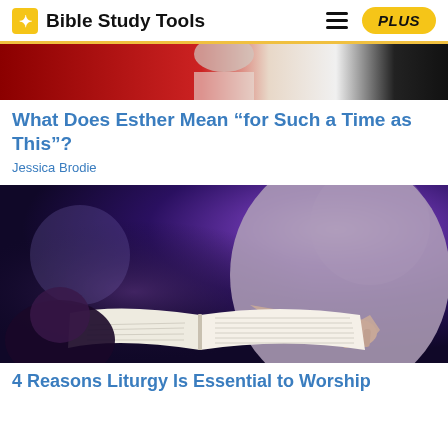Bible Study Tools
[Figure (photo): Partial photo showing a person in a red garment, cropped at the top of the page]
What Does Esther Mean “for Such a Time as This”?
Jessica Brodie
[Figure (photo): A person holding an open Bible, reading it, set against a dark purple/blue blurred background]
4 Reasons Liturgy Is Essential to Worship